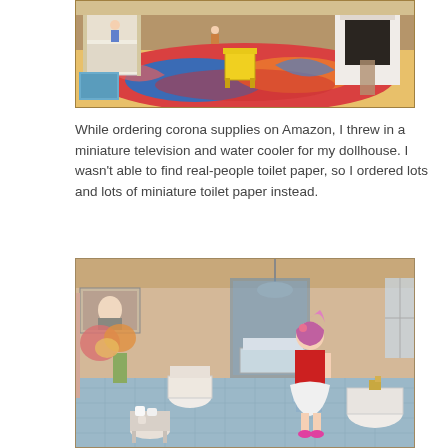[Figure (photo): Photo of a miniature dollhouse bedroom scene with bunk beds, colorful patterned rug, small doll figures, yellow chair, fireplace, and various small furniture items.]
While ordering corona supplies on Amazon, I threw in a miniature television and water cooler for my dollhouse. I wasn't able to find real-people toilet paper, so I ordered lots and lots of miniature toilet paper instead.
[Figure (photo): Photo of a miniature dollhouse bathroom scene with a doll figure with pink/purple hair and red outfit standing at a sink, toilet, bathtub, flowers, blue tile floor, hanging lamp, and small items including miniature toilet paper rolls on a table.]